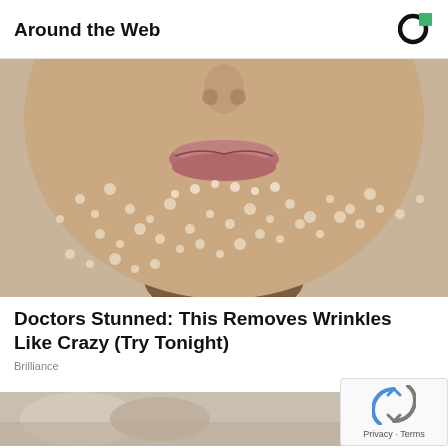Around the Web
[Figure (logo): Outbrain logo - circular C shape with green square]
[Figure (photo): Close-up of a person's lower face covered in sugar crystals or salt particles as a skin treatment, with lips visible]
Doctors Stunned: This Removes Wrinkles Like Crazy (Try Tonight)
Brilliance
[Figure (photo): Partial view of people at the bottom of the page]
[Figure (other): reCAPTCHA widget with Privacy and Terms links]